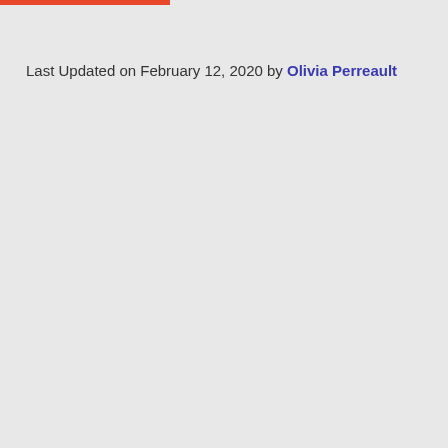Last Updated on February 12, 2020 by Olivia Perreault